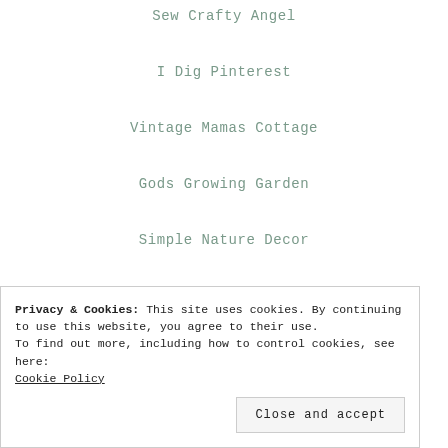Sew Crafty Angel
I Dig Pinterest
Vintage Mamas Cottage
Gods Growing Garden
Simple Nature Decor
Life Of The Party
Privacy & Cookies: This site uses cookies. By continuing to use this website, you agree to their use.
To find out more, including how to control cookies, see here:
Cookie Policy
Close and accept